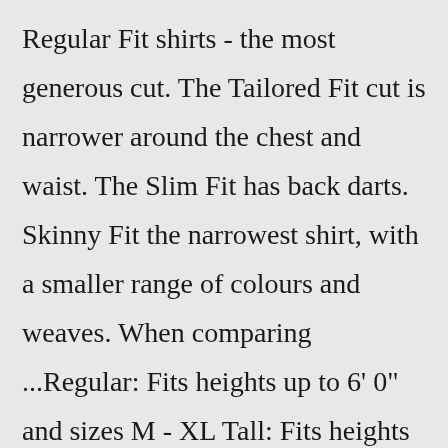Regular Fit shirts - the most generous cut. The Tailored Fit cut is narrower around the chest and waist. The Slim Fit has back darts. Skinny Fit the narrowest shirt, with a smaller range of colours and weaves. When comparing ...Regular: Fits heights up to 6' 0" and sizes M - XL Tall: Fits heights from 6' 1" to 6' 4" and sizes 2XL - 4XL (regular or tall) Tops, Swim Tops, Dresses, Outerwear Shop Women's Tops Shop